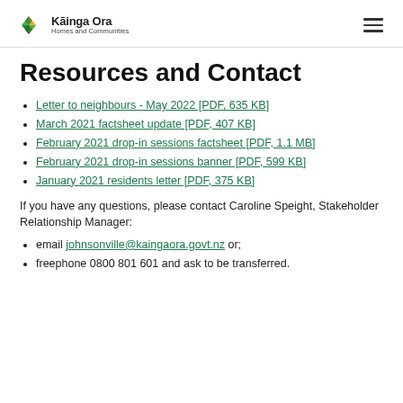Kāinga Ora – Homes and Communities
Resources and Contact
Letter to neighbours - May 2022 [PDF, 635 KB]
March 2021 factsheet update [PDF, 407 KB]
February 2021 drop-in sessions factsheet [PDF, 1.1 MB]
February 2021 drop-in sessions banner [PDF, 599 KB]
January 2021 residents letter [PDF, 375 KB]
If you have any questions, please contact Caroline Speight, Stakeholder Relationship Manager:
email johnsonville@kaingaora.govt.nz or;
freephone 0800 801 601 and ask to be transferred.